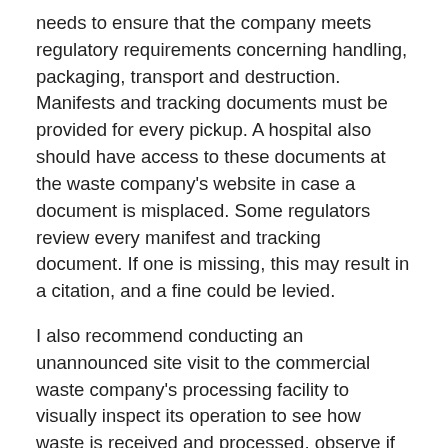needs to ensure that the company meets regulatory requirements concerning handling, packaging, transport and destruction. Manifests and tracking documents must be provided for every pickup. A hospital also should have access to these documents at the waste company's website in case a document is misplaced. Some regulators review every manifest and tracking document. If one is missing, this may result in a citation, and a fine could be levied.
I also recommend conducting an unannounced site visit to the commercial waste company's processing facility to visually inspect its operation to see how waste is received and processed, observe if the facility is safe and clean, view permits and to speak to employees about the company. I also recommend a review of regulatory websites to determine if any citations or fines have been levied against the company and conduct reference checks.